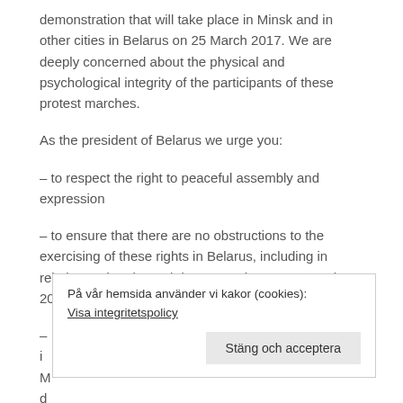demonstration that will take place in Minsk and in other cities in Belarus on 25 March 2017. We are deeply concerned about the physical and psychological integrity of the participants of these protest marches.
As the president of Belarus we urge you:
– to respect the right to peaceful assembly and expression
– to ensure that there are no obstructions to the exercising of these rights in Belarus, including in relation to the planned demonstration on 25 March 2017 in Minsk and in other cities across the country
– [partially obscured by cookie banner]
På vår hemsida använder vi kakor (cookies): Visa integritetspolicy [Stäng och acceptera]